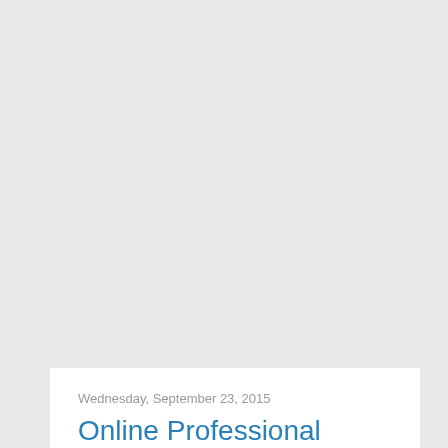Wednesday, September 23, 2015
Online Professional